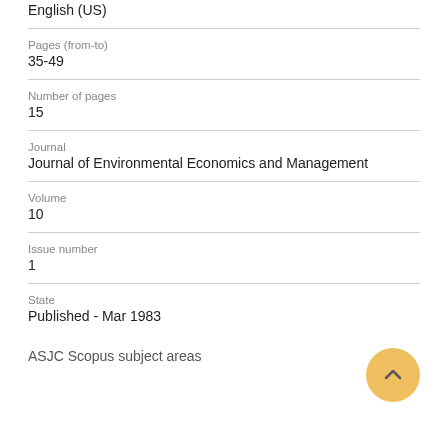English (US)
Pages (from-to)
35-49
Number of pages
15
Journal
Journal of Environmental Economics and Management
Volume
10
Issue number
1
State
Published - Mar 1983
ASJC Scopus subject areas